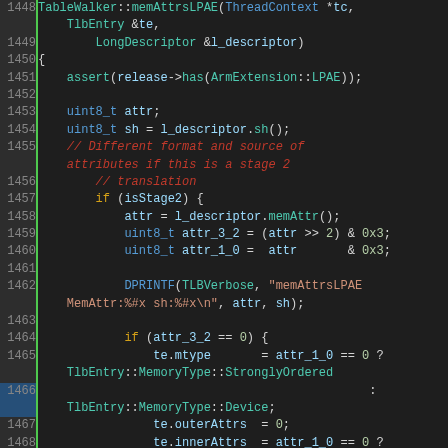[Figure (screenshot): Source code screenshot showing C++ code for TableWalker::memAttrsLPAE function, lines 1448-1473, with syntax highlighting on dark background. Shows TLB entry memory attribute setting logic including stage 2 translation handling, DPRINTF calls, and MemoryType assignments.]